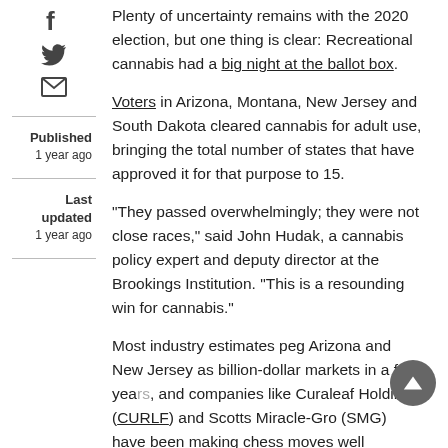Plenty of uncertainty remains with the 2020 election, but one thing is clear: Recreational cannabis had a big night at the ballot box.
Voters in Arizona, Montana, New Jersey and South Dakota cleared cannabis for adult use, bringing the total number of states that have approved it for that purpose to 15.
Published 1 year ago
Last updated 1 year ago
"They passed overwhelmingly; they were not close races," said John Hudak, a cannabis policy expert and deputy director at the Brookings Institution. "This is a resounding win for cannabis."
Most industry estimates peg Arizona and New Jersey as billion-dollar markets in a few years, and companies like Curaleaf Holdings (CURLF) and Scotts Miracle-Gro (SMG) have been making chess moves well